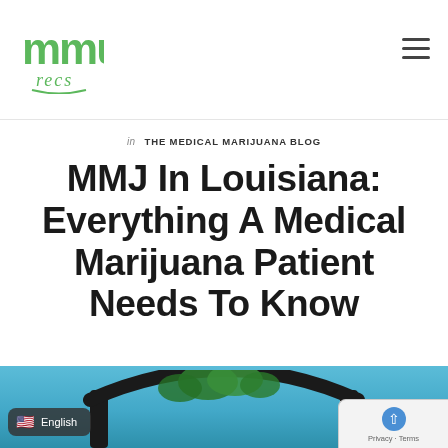[Figure (logo): MMU Recs logo — stylized 'mmu' letters in green with 'recs' in cursive below]
MMU Recs — navigation header with hamburger menu
in THE MEDICAL MARIJUANA BLOG
MMJ In Louisiana: Everything A Medical Marijuana Patient Needs To Know
[Figure (photo): Photo of a marijuana plant through an arch structure against a blue sky]
🇺🇸 English
Privacy · Terms